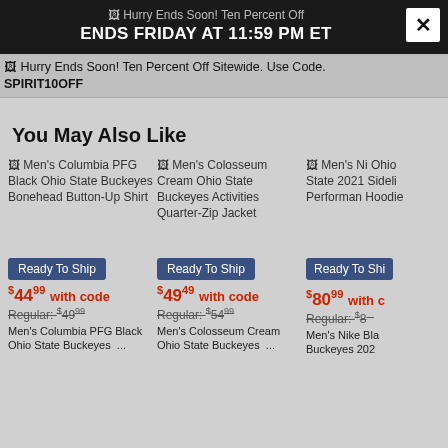Hurry Ends Soon! Ten Percent Off — ENDS FRIDAY AT 11:59 PM ET
Hurry Ends Soon! Ten Percent Off Sitewide. Use Code. SPIRIT10OFF
You May Also Like
[Figure (photo): Men's Columbia PFG Black Ohio State Buckeyes Bonehead Button-Up Shirt product image placeholder]
[Figure (photo): Men's Colosseum Cream Ohio State Buckeyes Activities Quarter-Zip Jacket product image placeholder]
[Figure (photo): Men's Nike Ohio State Buckeyes 2021 Sideline Performance Hoodie product image placeholder]
Ready To Ship
$44.99 with code
Regular: $49.99
Men's Columbia PFG Black Ohio State Buckeyes ...
Ready To Ship
$49.49 with code
Regular: $54.99
Men's Colosseum Cream Ohio State Buckeyes ...
Ready To Ship
$80.99 with code
Regular: $89...
Men's Nike Bla... Buckeyes 202...